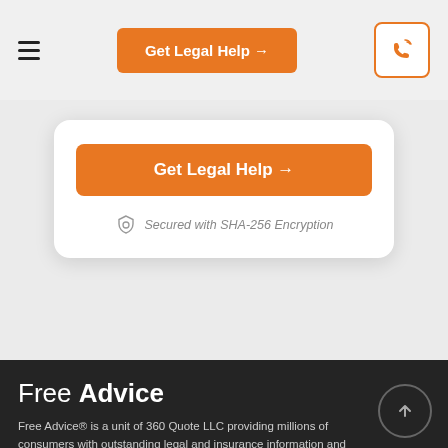Get Legal Help →
Get Legal Help →
Secured with SHA-256 Encryption
Free Advice
Free Advice® is a unit of 360 Quote LLC providing millions of consumers with outstanding legal and insurance information and advice – for free – since 1995.
Company
About Us   Contact Us   Advertiser Disclosure